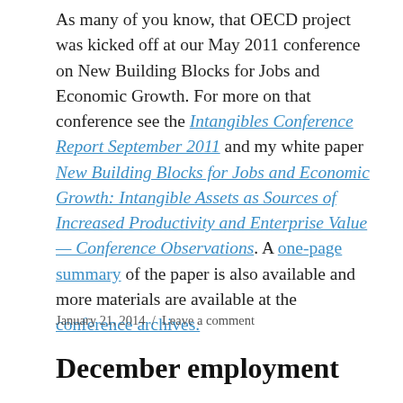As many of you know, that OECD project was kicked off at our May 2011 conference on New Building Blocks for Jobs and Economic Growth. For more on that conference see the Intangibles Conference Report September 2011 and my white paper New Building Blocks for Jobs and Economic Growth: Intangible Assets as Sources of Increased Productivity and Enterprise Value — Conference Observations. A one-page summary of the paper is also available and more materials are available at the conference archives.
January 21, 2014 / Leave a comment
December employment